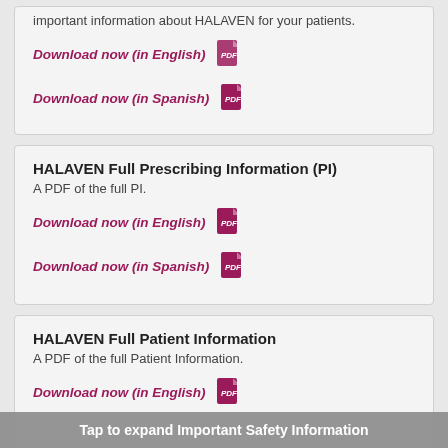important information about HALAVEN for your patients.
Download now (in English)
Download now (in Spanish)
HALAVEN Full Prescribing Information (PI)
A PDF of the full PI.
Download now (in English)
Download now (in Spanish)
HALAVEN Full Patient Information
A PDF of the full Patient Information.
Download now (in English)
Download now (in Spanish)
Tap to expand Important Safety Information